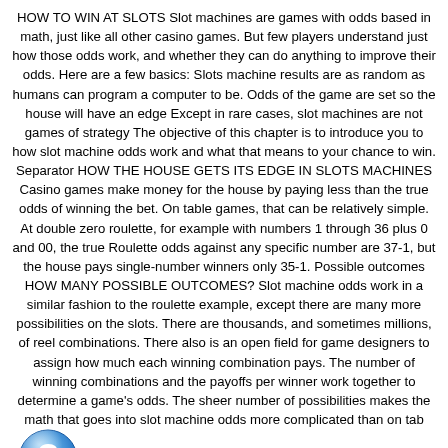HOW TO WIN AT SLOTS Slot machines are games with odds based in math, just like all other casino games. But few players understand just how those odds work, and whether they can do anything to improve their odds. Here are a few basics: Slots machine results are as random as humans can program a computer to be. Odds of the game are set so the house will have an edge Except in rare cases, slot machines are not games of strategy The objective of this chapter is to introduce you to how slot machine odds work and what that means to your chance to win. Separator HOW THE HOUSE GETS ITS EDGE IN SLOTS MACHINES Casino games make money for the house by paying less than the true odds of winning the bet. On table games, that can be relatively simple. At double zero roulette, for example with numbers 1 through 36 plus 0 and 00, the true Roulette odds against any specific number are 37-1, but the house pays single-number winners only 35-1. Possible outcomes HOW MANY POSSIBLE OUTCOMES? Slot machine odds work in a similar fashion to the roulette example, except there are many more possibilities on the slots. There are thousands, and sometimes millions, of reel combinations. There also is an open field for game designers to assign how much each winning combination pays. The number of winning combinations and the payoffs per winner work together to determine a game's odds. The sheer number of possibilities makes the math that goes into slot machine odds more complicated than on table games. On early three-reel slots with 10 symbols per reel, there were possible combinations (10 x 10 x 10). If blank spaces between are used as stops, the number of combinations increases to 20x20x20=8,000. With bigger reels holding 20 symbols and 20 spaces, combinations
[Figure (illustration): Blue question mark icon overlaid on the text]